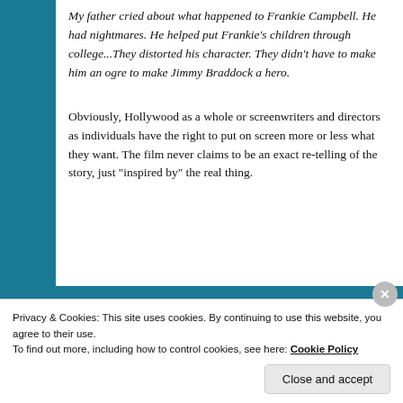My father cried about what happened to Frankie Campbell. He had nightmares. He helped put Frankie's children through college...They distorted his character. They didn't have to make him an ogre to make Jimmy Braddock a hero.
Obviously, Hollywood as a whole or screenwriters and directors as individuals have the right to put on screen more or less what they want. The film never claims to be an exact re-telling of the story, just "inspired by" the real thing.
Privacy & Cookies: This site uses cookies. By continuing to use this website, you agree to their use.
To find out more, including how to control cookies, see here: Cookie Policy